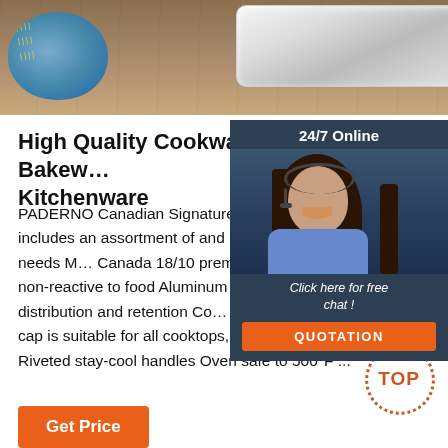[Figure (photo): Product image showing a blue bowl with yellow corn items and a silver/white baking tray on a wooden surface background]
High Quality Cookware, Bakeware, Kitchenware
PADERNO Canadian Signature Stainless Cookware Set includes an assortment of pots and pans for all your cooking needs Made in Canada 18/10 premium-grade stainless non-reactive to food Aluminum core promotes even heat distribution and retention Cool-resistant stainless-steel cap is suitable for all cooktops, including induction Riveted stay-cool handles Oven safe to 500°F ...
[Figure (photo): Customer service chat widget showing 24/7 Online label, a woman with headset smiling, Click here for free chat text, and an orange QUOTATION button]
[Figure (other): Orange dotted circle TOP button for scrolling to top of page]
Get Price